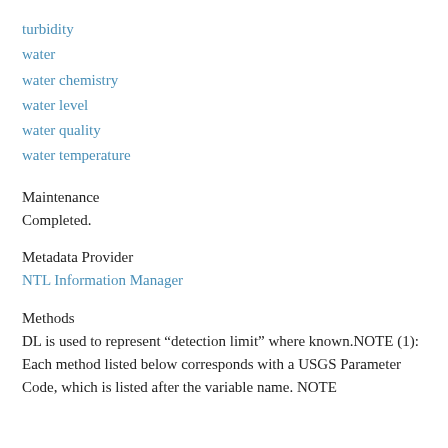turbidity
water
water chemistry
water level
water quality
water temperature
Maintenance
Completed.
Metadata Provider
NTL Information Manager
Methods
DL is used to represent “detection limit” where known.NOTE (1): Each method listed below corresponds with a USGS Parameter Code, which is listed after the variable name. NOTE